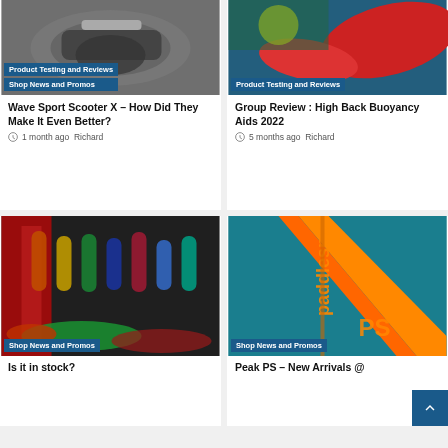[Figure (photo): Close-up of a scooter/vehicle part, black and silver tones]
Product Testing and Reviews
Shop News and Promos
Wave Sport Scooter X – How Did They Make It Even Better?
1 month ago  Richard
[Figure (photo): Red kayak and colorful water sports gear]
Product Testing and Reviews
Group Review : High Back Buoyancy Aids 2022
5 months ago  Richard
[Figure (photo): Kayak shop interior with colorful boats and gear hanging]
Shop News and Promos
Is it in stock?
[Figure (photo): Teal/orange Peak PS paddlesports jacket close-up]
Shop News and Promos
Peak PS – New Arrivals @